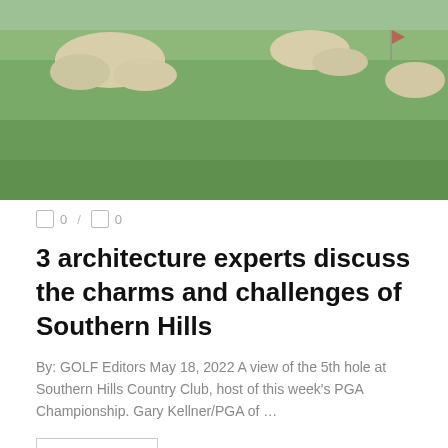[Figure (photo): Aerial view of Southern Hills Country Club golf course showing sand bunkers on green fairway, 5th hole]
0 / 0
3 architecture experts discuss the charms and challenges of Southern Hills
By: GOLF Editors May 18, 2022 A view of the 5th hole at Southern Hills Country Club, host of this week’s PGA Championship. Gary Kellner/PGA of ...
READ MORE
PARKLAND COURSES